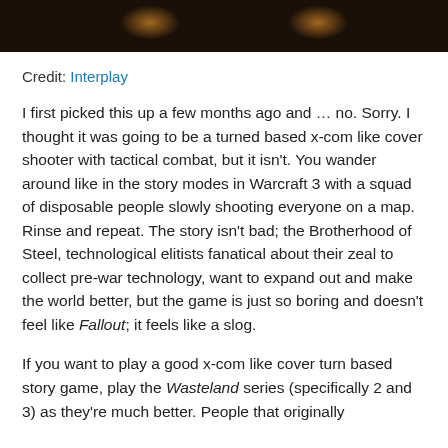[Figure (photo): Dark atmospheric image, likely a game screenshot with orange/amber glowing lights against a very dark background]
Credit: Interplay
I first picked this up a few months ago and … no. Sorry. I thought it was going to be a turned based x-com like cover shooter with tactical combat, but it isn't. You wander around like in the story modes in Warcraft 3 with a squad of disposable people slowly shooting everyone on a map. Rinse and repeat. The story isn't bad; the Brotherhood of Steel, technological elitists fanatical about their zeal to collect pre-war technology, want to expand out and make the world better, but the game is just so boring and doesn't feel like Fallout; it feels like a slog.
If you want to play a good x-com like cover turn based story game, play the Wasteland series (specifically 2 and 3) as they're much better. People that originally